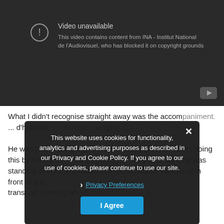[Figure (screenshot): YouTube video unavailable screen with dark background showing 'Video unavailable' message and explanation about INA - Institut National de l'Audiovisuel copyright block.]
What I didn't recognise straight away was the accompaniment. ... d'habitude ... room was singing ... He was proper singing, with zero inhibitions. He wasn't doing this by halves ... his tune, singing his very best, as if he was standing in front of a micro in a music studio, instead of in front of a p... transport steering wh... 'Sur to... remo... b... d... 13...
This website uses cookies for functionality, analytics and advertising purposes as described in our Privacy and Cookie Policy. If you agree to our use of cookies, please continue to use our site.
Privacy Preferences
I Agree